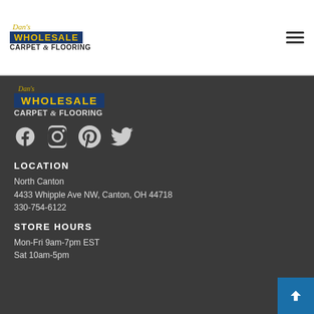Dan's Wholesale Carpet & Flooring — navigation header with hamburger menu
[Figure (logo): Dan's Wholesale Carpet & Flooring logo in footer area]
[Figure (infographic): Social media icons: Facebook, Instagram, Pinterest, Twitter]
LOCATION
North Canton
4433 Whipple Ave NW, Canton, OH 44718
330-754-6122
STORE HOURS
Mon-Fri 9am-7pm EST
Sat 10am-5pm